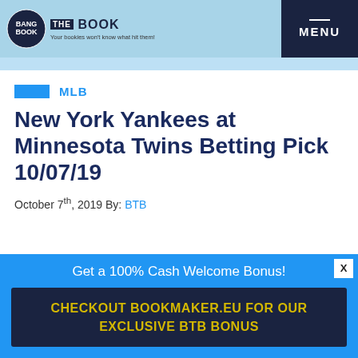BANG THE BOOK | MENU
MLB
New York Yankees at Minnesota Twins Betting Pick 10/07/19
October 7th, 2019 By: BTB
Get a 100% Cash Welcome Bonus! CHECKOUT BOOKMAKER.EU FOR OUR EXCLUSIVE BTB BONUS